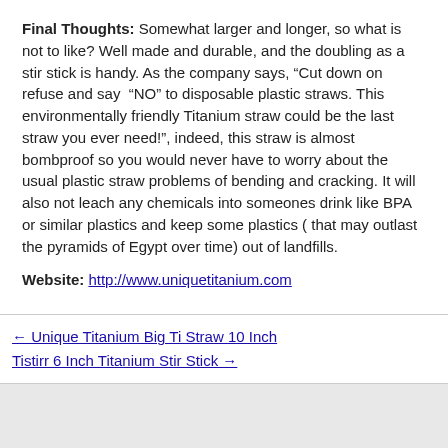Final Thoughts: Somewhat larger and longer, so what is not to like? Well made and durable, and the doubling as a stir stick is handy. As the company says, “Cut down on refuse and say “NO” to disposable plastic straws. This environmentally friendly Titanium straw could be the last straw you ever need!”, indeed, this straw is almost bombproof so you would never have to worry about the usual plastic straw problems of bending and cracking. It will also not leach any chemicals into someones drink like BPA or similar plastics and keep some plastics ( that may outlast the pyramids of Egypt over time) out of landfills.
Website: http://www.uniquetitanium.com
← Unique Titanium Big Ti Straw 10 Inch
Tistirr 6 Inch Titanium Stir Stick →